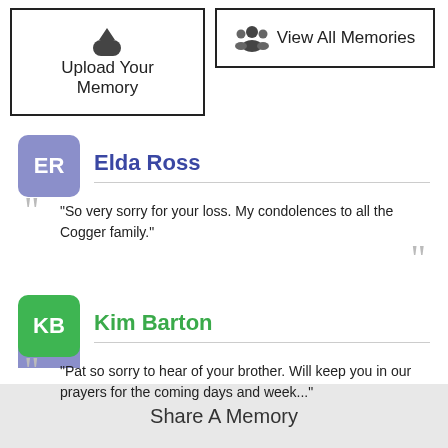[Figure (screenshot): Upload Your Memory button with upload cloud icon]
[Figure (screenshot): View All Memories button with group icon]
Elda Ross
"So very sorry for your loss. My condolences to all the Cogger family."
Kim Barton
"Pat so sorry to hear of your brother. Will keep you in our prayers for the coming days and week..."
Share A Memory